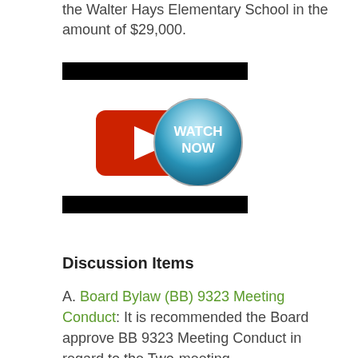the Walter Hays Elementary School in the amount of $29,000.
[Figure (other): Black redacted bar]
[Figure (other): Watch Now button — red play button icon with blue circular WATCH NOW badge]
[Figure (other): Black redacted bar]
Discussion Items
A. Board Bylaw (BB) 9323 Meeting Conduct: It is recommended the Board approve BB 9323 Meeting Conduct in regard to the Two-meeting